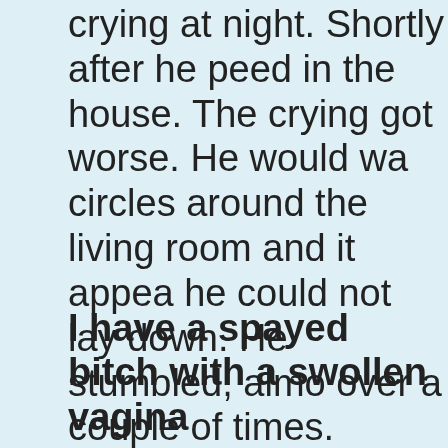Last week my 8 1/2 year old mastiff mix started crying at night. Shortly after he peed in the house. The crying got worse. He would walk circles around the living room and it appeared he could not lay down. He stumbled, almost fell over a couple of times. Constant crying. When he would go outside he would cry and howl. He seems very weak, lathargic. Uncoordinated in his back legs. All blood tests have come back negative. Urine test seemed fine. Limes disease test negative. Thyroid test came back fine. He acts drunk or drugged. He startles easily, then gets tremors. He just had a spinal tap today and we are waiting on the results from that. Please help, I dont want to put down another dog this year. He is much to young.
I have a spayed bitch with a swollen vagina